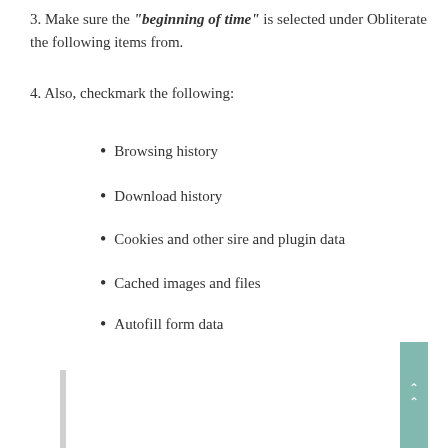3. Make sure the "beginning of time" is selected under Obliterate the following items from.
4. Also, checkmark the following:
Browsing history
Download history
Cookies and other sire and plugin data
Cached images and files
Autofill form data
Passwords
[Figure (screenshot): Clear browsing data dialog box showing 'Obliterate the following items from: the beginning of time' dropdown and 'Browsing history - 49,410 items' checkbox checked]